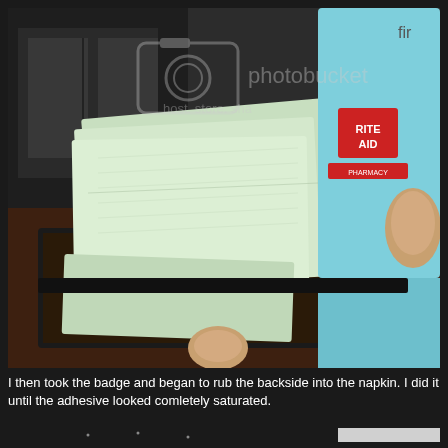[Figure (photo): Photo showing green napkins/gauze pads laid on a dark surface (table or tray), with a Rite Aid first aid product box held in the upper right, and a person's thumb visible at the bottom center. A Photobucket watermark is overlaid on the image.]
I then took the badge and began to rub the backside into the napkin. I did it until the adhesive looked comletely saturated.
[Figure (photo): Partial photo at bottom showing a dark surface with small light specks/dots and a light-colored object on the right edge.]